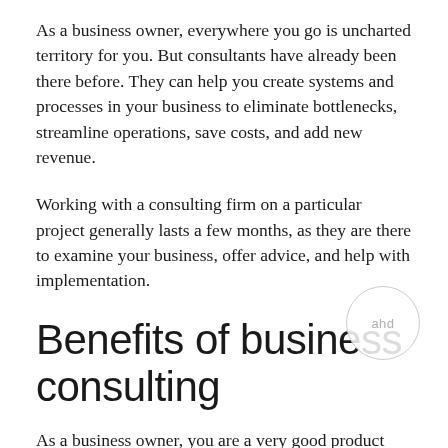As a business owner, everywhere you go is uncharted territory for you. But consultants have already been there before. They can help you create systems and processes in your business to eliminate bottlenecks, streamline operations, save costs, and add new revenue.
Working with a consulting firm on a particular project generally lasts a few months, as they are there to examine your business, offer advice, and help with implementation.
Benefits of business consulting
As a business owner, you are a very good product and service creator. Perhaps you specialize in one or more fields. It is unlikely that you are an expert at solving